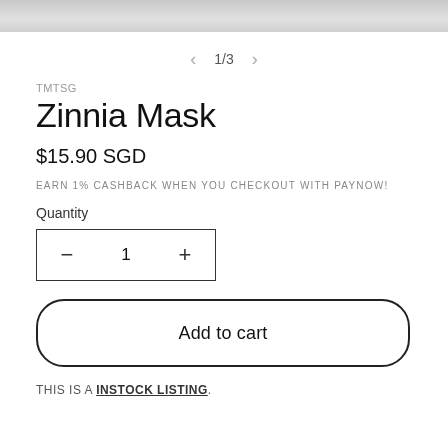[Figure (photo): Top image strip showing a partial product photo (likely a face mask), cropped at the top of the page]
1/3
TMTSG
Zinnia Mask
$15.90 SGD
EARN 1% CASHBACK WHEN YOU CHECKOUT WITH PAYNOW!
Quantity
1
Add to cart
THIS IS A INSTOCK LISTING.